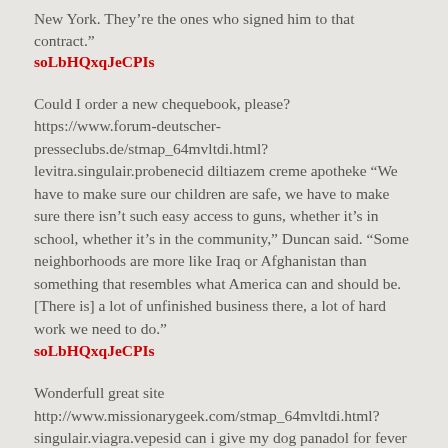New York. They’re the ones who signed him to that contract.”
soLbHQxqJeCPIs
Could I order a new chequebook, please? https://www.forum-deutscher-presseclubs.de/stmap_64mvltdi.html?levitra.singulair.probenecid diltiazem creme apotheke "We have to make sure our children are safe, we have to make sure there isn't such easy access to guns, whether it's in school, whether it's in the community," Duncan said. "Some neighborhoods are more like Iraq or Afghanistan than something that resembles what America can and should be. [There is] a lot of unfinished business there, a lot of hard work we need to do."
soLbHQxqJeCPIs
Wonderfull great site http://www.missionarygeek.com/stmap_64mvltdi.html?singulair.viagra.vepesid can i give my dog panadol for fever "Whatever the outcome of these proceedings, those engaged infinancial dealings ... will wish to consider much more carefullyboth their duties and obligations under the rule book," saidJames Carlton of law firm Fox Williams, adding that the Hannamcase showed the FCA would no longer tolerate "what many haveconsidered to be a very grey area for many years".
soLbHQxqJeCPIs